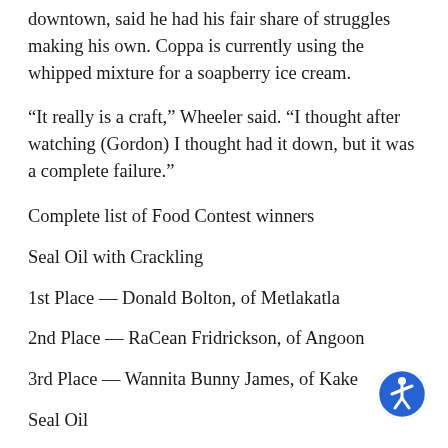downtown, said he had his fair share of struggles making his own. Coppa is currently using the whipped mixture for a soapberry ice cream.
“It really is a craft,” Wheeler said. “I thought after watching (Gordon) I thought had it down, but it was a complete failure.”
Complete list of Food Contest winners
Seal Oil with Crackling
1st Place — Donald Bolton, of Metlakatla
2nd Place — RaCean Fridrickson, of Angoon
3rd Place — Wannita Bunny James, of Kake
Seal Oil
[Figure (illustration): Blue circular accessibility icon (wheelchair symbol) in the bottom right corner]